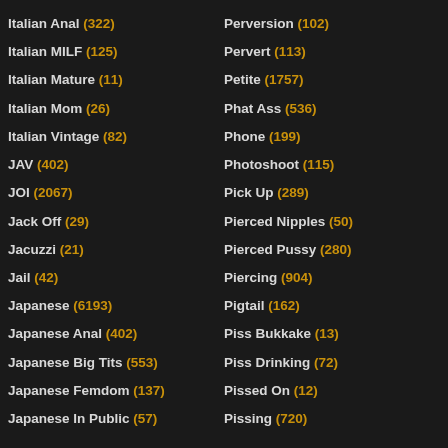Italian Anal (322)
Italian MILF (125)
Italian Mature (11)
Italian Mom (26)
Italian Vintage (82)
JAV (402)
JOI (2067)
Jack Off (29)
Jacuzzi (21)
Jail (42)
Japanese (6193)
Japanese Anal (402)
Japanese Big Tits (553)
Japanese Femdom (137)
Japanese In Public (57)
Perversion (102)
Pervert (113)
Petite (1757)
Phat Ass (536)
Phone (199)
Photoshoot (115)
Pick Up (289)
Pierced Nipples (50)
Pierced Pussy (280)
Piercing (904)
Pigtail (162)
Piss Bukkake (13)
Piss Drinking (72)
Pissed On (12)
Pissing (720)